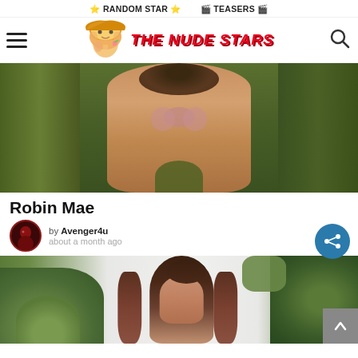⭐ RANDOM STAR ⭐ 🎬 TEASERS 🎬
[Figure (logo): The Nude Stars website logo with cartoon blonde woman character and red bold italic text reading THE NUDE STARS]
[Figure (photo): Nude woman standing outdoors surrounded by green foliage and plants]
Robin Mae
by Avenger4u
about a month ago
[Figure (photo): Partial view of a woman with long dark hair and blue hair accessory, standing in front of green tropical plants against a light background]